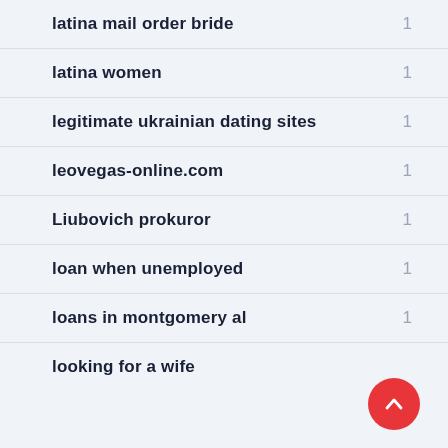latina mail order bride
latina women
legitimate ukrainian dating sites
leovegas-online.com
Liubovich prokuror
loan when unemployed
loans in montgomery al
looking for a wife